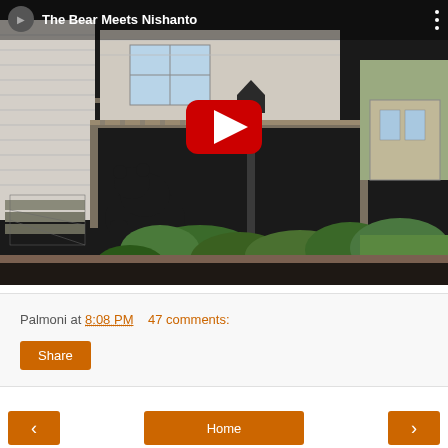[Figure (screenshot): YouTube video thumbnail for 'The Bear Meets Nishanto' showing a black bear near house steps and a deck surrounded by greenery, with a YouTube play button overlay and video title bar at the top.]
Palmoni at 8:08 PM    47 comments:
Share
Home